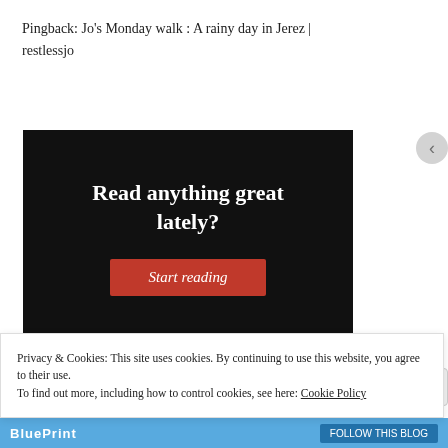Pingback: Jo's Monday walk : A rainy day in Jerez | restlessjo
[Figure (other): Dark advertisement banner with white text 'Read anything great lately?' and a red 'Start reading' button]
Privacy & Cookies: This site uses cookies. By continuing to use this website, you agree to their use.
To find out more, including how to control cookies, see here: Cookie Policy
Close and accept